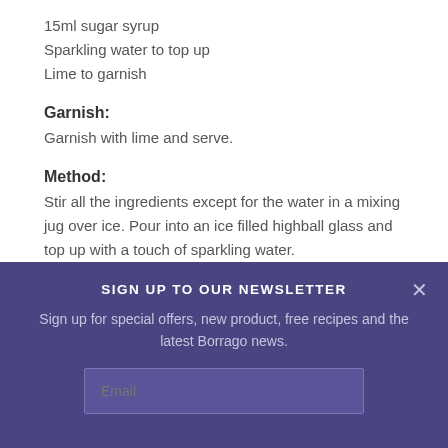15ml sugar syrup
Sparkling water to top up
Lime to garnish
Garnish:
Garnish with lime and serve.
Method:
Stir all the ingredients except for the water in a mixing jug over ice. Pour into an ice filled highball glass and top up with a touch of sparkling water.
SIGN UP TO OUR NEWSLETTER
Sign up for special offers, new product, free recipes and the latest Borrago news.